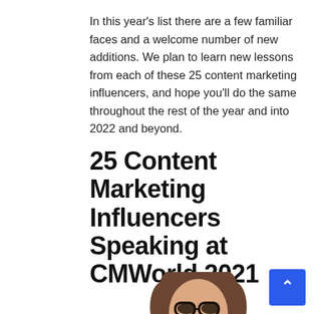In this year's list there are a few familiar faces and a welcome number of new additions. We plan to learn new lessons from each of these 25 content marketing influencers, and hope you'll do the same throughout the rest of the year and into 2022 and beyond.
25 Content Marketing Influencers Speaking at CMWorld 2021
[Figure (photo): Portrait photo of a smiling woman with short brown hair and round glasses, partially visible at the bottom of the page]